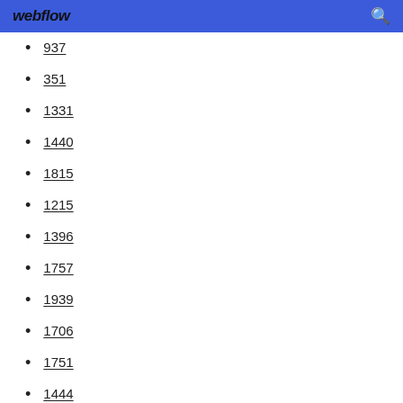webflow
937
351
1331
1440
1815
1215
1396
1757
1939
1706
1751
1444
1728